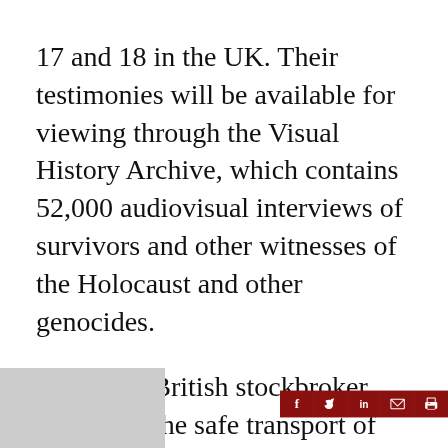17 and 18 in the UK. Their testimonies will be available for viewing through the Visual History Archive, which contains 52,000 audiovisual interviews of survivors and other witnesses of the Holocaust and other genocides.
Winton, a British stockbroker, organized the safe transport of 669 Jewish children from Czechoslovakia to Britain before the outbreak of World War II. Most of the children's parents were later killed at Auschwitz. Winton is the subject of a new documentary, Nicky's Family, and at 104 he remains in touch with many of the children he saved.
[Figure (other): Social media sharing bar with icons for Facebook, Twitter, LinkedIn, Email, and Print on dark red background]